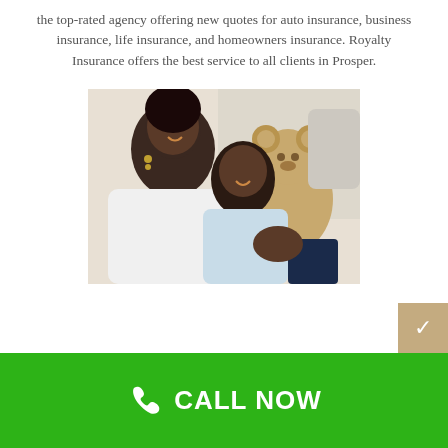the top-rated agency offering new quotes for auto insurance, business insurance, life insurance, and homeowners insurance. Royalty Insurance offers the best service to all clients in Prosper.
[Figure (photo): A mother and child smiling and laughing together on a couch, with a teddy bear in the background. The mother wears a white top and the child wears a light blue shirt.]
CALL NOW